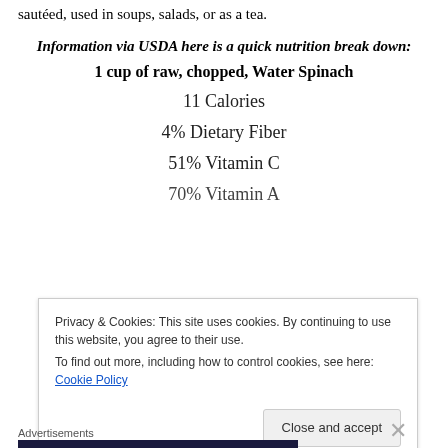sautéed, used in soups, salads, or as a tea.
Information via USDA here is a quick nutrition break down:
1 cup of raw, chopped, Water Spinach
11 Calories
4% Dietary Fiber
51% Vitamin C
70% Vitamin A
Privacy & Cookies: This site uses cookies. By continuing to use this website, you agree to their use. To find out more, including how to control cookies, see here: Cookie Policy
Advertisements